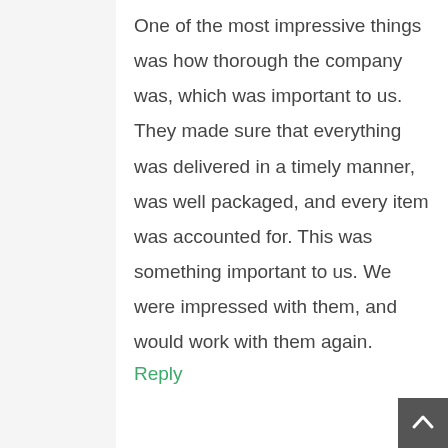One of the most impressive things was how thorough the company was, which was important to us. They made sure that everything was delivered in a timely manner, was well packaged, and every item was accounted for. This was something important to us. We were impressed with them, and would work with them again.
Reply